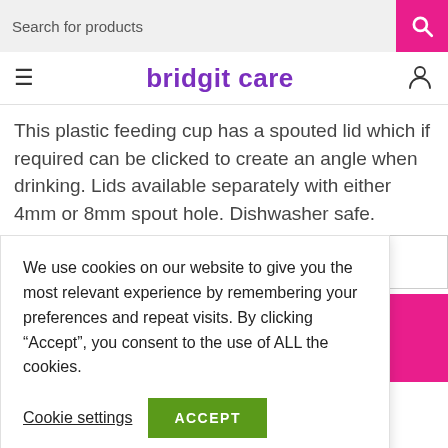Search for products
bridgit care
This plastic feeding cup has a spouted lid which if required can be clicked to create an angle when drinking. Lids available separately with either 4mm or 8mm spout hole. Dishwasher safe.
We use cookies on our website to give you the most relevant experience by remembering your preferences and repeat visits. By clicking “Accept”, you consent to the use of ALL the cookies.
Cookie settings   ACCEPT
+ Add to Wishlist